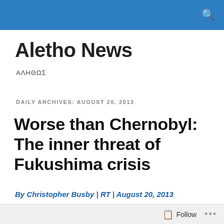Aletho News [search icon in blue bar]
Aletho News
ΑΛΗΘΩΣ
DAILY ARCHIVES: AUGUST 20, 2013
Worse than Chernobyl: The inner threat of Fukushima crisis
By Christopher Busby | RT | August 20, 2013
I recently pointed out, this operation has to go on forever –